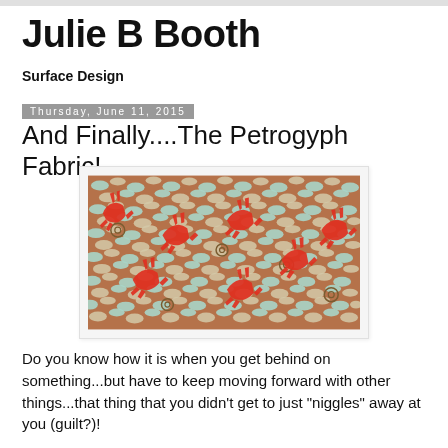Julie B Booth
Surface Design
Thursday, June 11, 2015
And Finally....The Petrogyph Fabric!
[Figure (photo): Close-up photograph of fabric featuring a petrogyph-style pattern with red animal figures (possibly deer or dogs) on a background of teal/turquoise and beige mosaic-like oval shapes with circular swirl motifs, all on a terracotta/brown base.]
Do you know how it is when you get behind on something...but have to keep moving forward with other things...that thing that you didn't get to just "niggles" away at you (guilt?)!